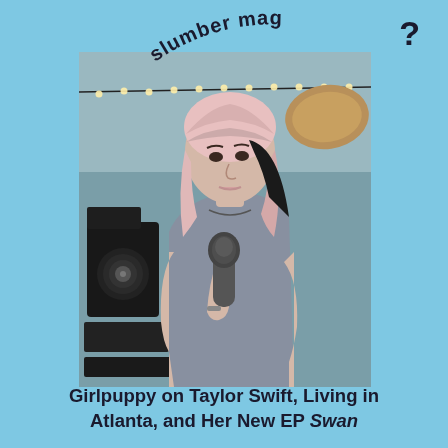slumber mag
[Figure (photo): Young woman with pink/blonde hair holding a microphone in a bedroom studio setting with fairy lights, a black speaker, and a pillow visible in the background. Photo has a slightly washed-out, polaroid-like aesthetic.]
Girlpuppy on Taylor Swift, Living in Atlanta, and Her New EP Swan